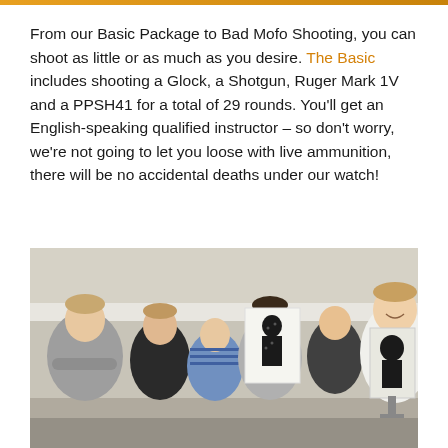From our Basic Package to Bad Mofo Shooting, you can shoot as little or as much as you desire. The Basic includes shooting a Glock, a Shotgun, Ruger Mark 1V and a PPSH41 for a total of 29 rounds. You'll get an English-speaking qualified instructor – so don't worry, we're not going to let you loose with live ammunition, there will be no accidental deaths under our watch!
[Figure (photo): Group of young men smiling at a shooting range, one holding up a black silhouette target with bullet holes, others gathered around in an indoor range setting.]